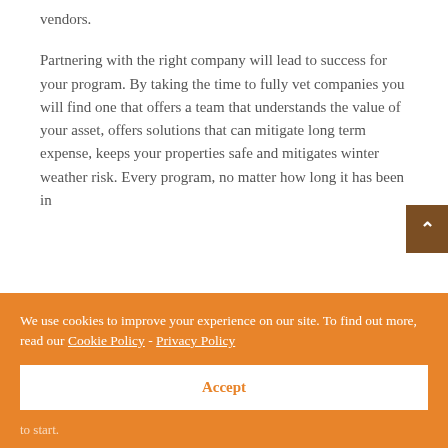vendors.
Partnering with the right company will lead to success for your program. By taking the time to fully vet companies you will find one that offers a team that understands the value of your asset, offers solutions that can mitigate long term expense, keeps your properties safe and mitigates winter weather risk. Every program, no matter how long it has been in
We use cookies to improve your experience on our site. To find out more, read our Cookie Policy - Privacy Policy
Accept
to start.